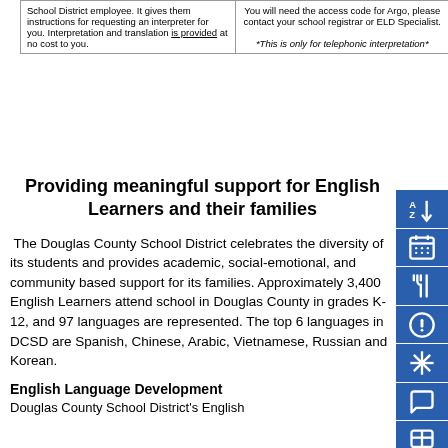| School District employee.  It gives them instructions for requesting an interpreter for you.  Interpretation and translation is provided at no cost to you. | You will need the access code for Argo, please contact your school registrar or ELD Specialist.

*This is only for telephonic interpretation* |
Providing meaningful support for English Learners and their families
The Douglas County School District celebrates the diversity of its students and provides academic, social-emotional, and community based support for its families. Approximately 3,400 English Learners attend school in Douglas County in grades K-12, and 97 languages are represented. The top 6 languages in DCSD are Spanish, Chinese, Arabic, Vietnamese, Russian and Korean.
English Language Development
Douglas County School District's English...